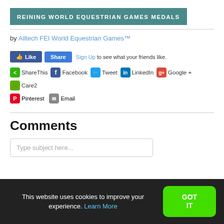REINING WORLD EQUESTRIAN GAMES MEDALS
by Alltech FEI World Equestrian Games™
[Figure (screenshot): Facebook Like and Share buttons with 'Sign Up to see what your friends like.' text]
[Figure (infographic): Social sharing icons row: ShareThis, Facebook, Tweet, LinkedIn, Google+, Care2, Pinterest, Email]
Comments
Type subject here...
This website uses cookies to improve your experience. Learn More